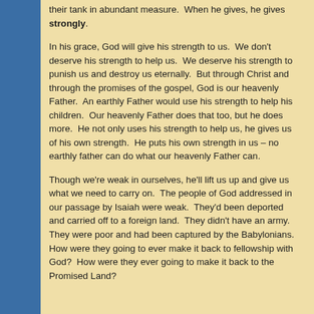their tank in abundant measure.  When he gives, he gives strongly.

In his grace, God will give his strength to us.  We don't deserve his strength to help us.  We deserve his strength to punish us and destroy us eternally.  But through Christ and through the promises of the gospel, God is our heavenly Father.  An earthly Father would use his strength to help his children.  Our heavenly Father does that too, but he does more.  He not only uses his strength to help us, he gives us of his own strength.  He puts his own strength in us – no earthly father can do what our heavenly Father can.

Though we're weak in ourselves, he'll lift us up and give us what we need to carry on.  The people of God addressed in our passage by Isaiah were weak.  They'd been deported and carried off to a foreign land.  They didn't have an army.  They were poor and had been captured by the Babylonians.  How were they going to ever make it back to fellowship with God?  How were they ever going to make it back to the Promised Land?